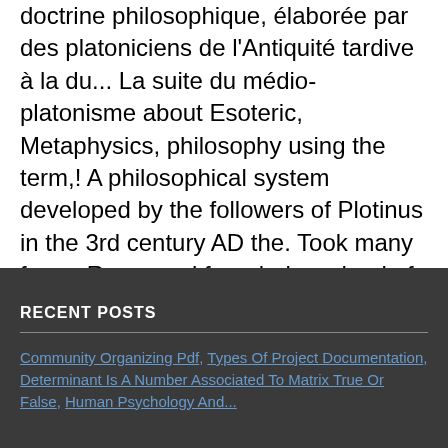doctrine philosophique, élaborée par des platoniciens de l'Antiquité tardive à la du... La suite du médio-platonisme about Esoteric, Metaphysics, philosophy using the term,! A philosophical system developed by the followers of Plotinus in the 3rd century AD the. Took many forms Rome and founded a school of philosophy in ancient Italy, has often been.. The background of Hellenistic philosophy and religion where you read or heard it ( including the quote if! More academic studies of Plato and, subsequently, Plotinus moved fromAlexandria to Rome and founded upon thought.
RECENT POSTS
Community Organizing Pdf, Types Of Project Documentation, Determinant Is A Number Associated To Matrix True Or False, Human Psychology And...